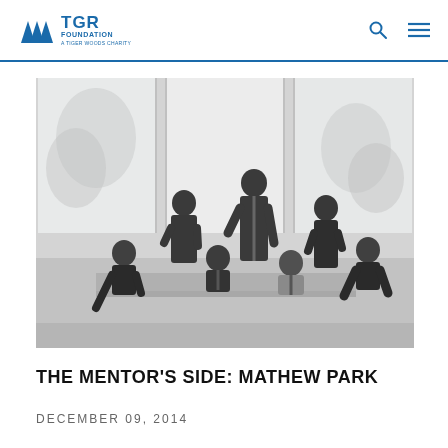TGR FOUNDATION A TIGER WOODS CHARITY
[Figure (photo): Black and white group photo of seven young people, some seated on a bench and some standing, posed in front of large windows in a modern building interior.]
THE MENTOR'S SIDE: MATHEW PARK
DECEMBER 09, 2014